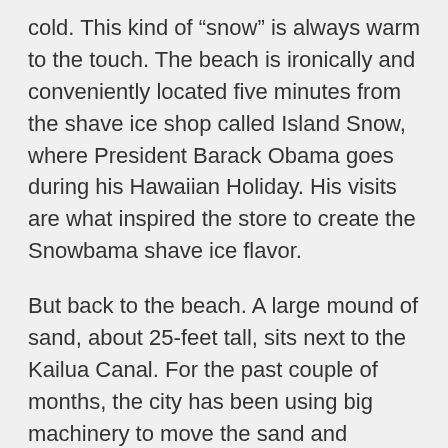cold. This kind of “snow” is always warm to the touch. The beach is ironically and conveniently located five minutes from the shave ice shop called Island Snow, where President Barack Obama goes during his Hawaiian Holiday. His visits are what inspired the store to create the Snowbama shave ice flavor.
But back to the beach. A large mound of sand, about 25-feet tall, sits next to the Kailua Canal. For the past couple of months, the city has been using big machinery to move the sand and prevent